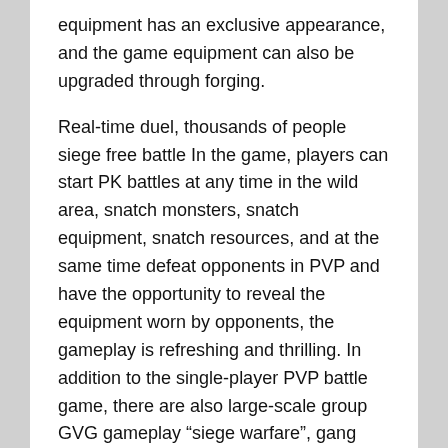equipment has an exclusive appearance, and the game equipment can also be upgraded through forging.
Real-time duel, thousands of people siege free battle In the game, players can start PK battles at any time in the wild area, snatch monsters, snatch equipment, snatch resources, and at the same time defeat opponents in PVP and have the opportunity to reveal the equipment worn by opponents, the gameplay is refreshing and thrilling. In addition to the single-player PVP battle game, there are also large-scale group GVG gameplay “siege warfare”, gang battles with gangs as the camp, etc., allowing you to experience the smooth and exciting duel of thousands of people on the same screen.
God of War comes, peerless masters follow to help [God of War] is a unique follower unit in the game. Each player can choose a [God of War] to fight side by side with him. Allows players to output freely. [God of War] is a unit